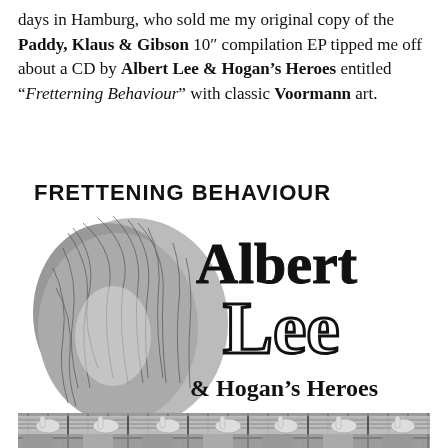days in Hamburg, who sold me my original copy of the Paddy, Klaus & Gibson 10" compilation EP tipped me off about a CD by Albert Lee & Hogan's Heroes entitled "Fretterning Behaviour" with classic Voormann art.
[Figure (illustration): Album cover art for 'Frettening Behaviour' by Albert Lee & Hogan's Heroes. Black and white illustration featuring a person with large curly/wild hair in the left portion, with bold text reading 'FRETTENING BEHAVIOUR' at the top, 'Albert Lee' in large decorative letters in the center-right, and '& Hogan's Heroes' below in stylized text. The bottom strip shows hands on guitar frets with small portrait photos.]